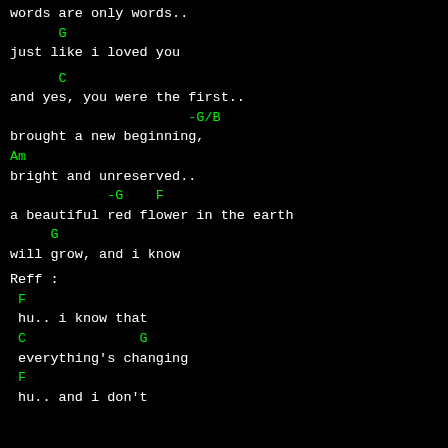words are only words..
G
just like i loved you
C
and yes, you were the first..
-G/B
brought a new beginning,
Am
bright and unreserved..
-G    F
a beautiful red flower in the earth
G
will grow, and i know
Reff :
F
hu.. i know that
C              G
everything's changing
F
hu.. and i don't